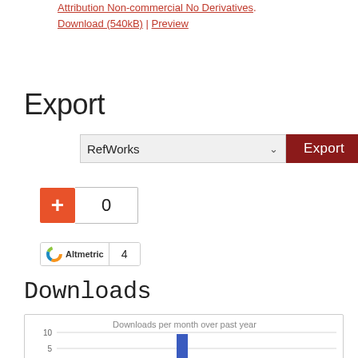Attribution Non-commercial No Derivatives. Download (540kB) | Preview
Export
[Figure (screenshot): Export dropdown selector showing 'RefWorks' with a dark red Export button]
[Figure (screenshot): Orange plus button with count box showing 0]
[Figure (screenshot): Altmetric badge showing score 4]
Downloads
[Figure (bar-chart): Downloads per month over past year]